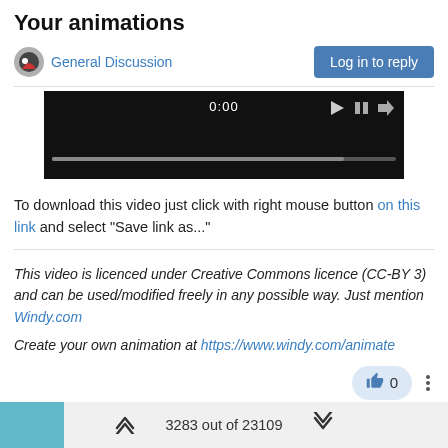Your animations
General Discussion | Log in to reply
[Figure (screenshot): Video player showing 0:00 timestamp with dark background and progress bar]
To download this video just click with right mouse button on this link and select "Save link as..."
This video is licenced under Creative Commons licence (CC-BY 3) and can be used/modified freely in any possible way. Just mention Windy.com
Create your own animation at https://www.windy.com/animate
3283 out of 23109